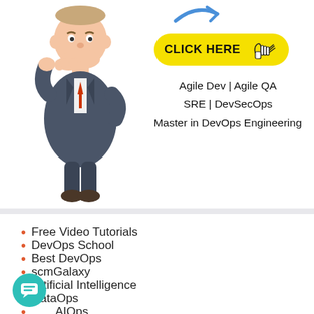[Figure (illustration): Cartoon man in suit thinking with hand on chin, alongside a yellow 'CLICK HERE' button with cursor icon, and text listing Agile Dev | Agile QA, SRE | DevSecOps, Master in DevOps Engineering]
Free Video Tutorials
DevOps School
Best DevOps
scmGalaxy
Artificial Intelligence
DataOps
AIOps